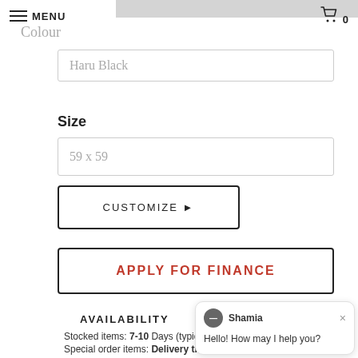MENU  0
Colour
Haru Black
Size
59 x 59
CUSTOMIZE ►
APPLY FOR FINANCE
AVAILABILITY
Stocked items: 7-10 Days (typically)
Special order items: Delivery time vary